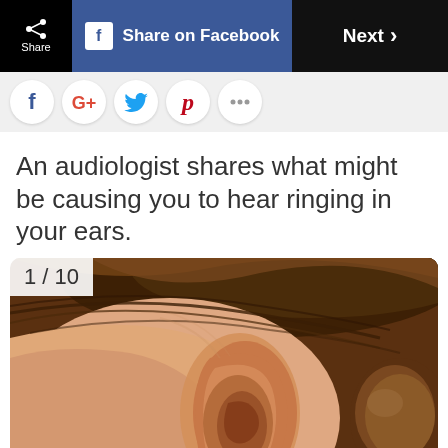Share | Share on Facebook | Next >
[Figure (other): Social media sharing icons row: Facebook, Google+, Twitter, Pinterest, and another icon]
An audiologist shares what might be causing you to hear ringing in your ears.
[Figure (photo): Close-up photo of a woman's ear and hair pulled back in a bun, showing ear anatomy relevant to tinnitus article. Label: 1/10]